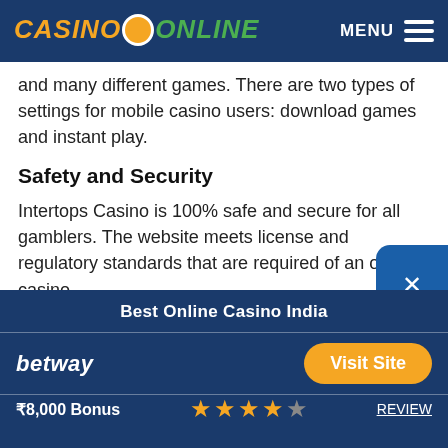CASINO ONLINE | MENU
...and many different games. There are two types of settings for mobile casino users: download games and instant play.
Safety and Security
Intertops Casino is 100% safe and secure for all gamblers. The website meets license and regulatory standards that are required of an online casino.
Best Online Casino India
betway
Visit Site
₹8,000 Bonus ★★★★☆ REVIEW